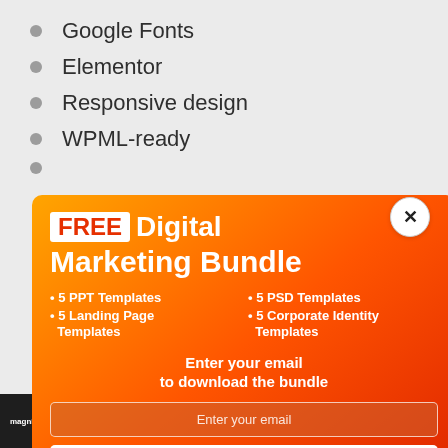Google Fonts
Elementor
Responsive design
WPML-ready
[Figure (screenshot): Orange popup modal with FREE Digital Marketing Bundle offer, email input field, and Get Bundle button. Close (X) button at top right. Background shows a webpage list.]
er WordPress
[Figure (screenshot): Bottom navigation bar of a website with Magnifrio branding and nav links]